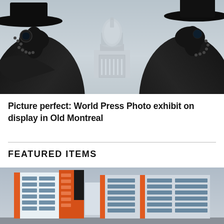[Figure (photo): Two people wearing black plague doctor masks and hats standing in front of the US Capitol building on a grey foggy day]
Picture perfect: World Press Photo exhibit on display in Old Montreal
FEATURED ITEMS
[Figure (photo): Modern multi-storey building with orange and grey facade, appears to be a hospital or institutional building, overcast sky]